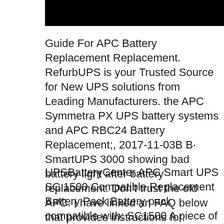[Figure (other): Black rectangular banner/header bar at the top of the page]
Guide For APC Battery Replacement Replacement. RefurbUPS is your Trusted Source for New UPS solutions from Leading Manufacturers. the APC Symmetra PX UPS battery systems and APC RBC24 Battery Replacement;, 2017-11-03B B· SmartUPS 3000 showing bad battery light after battery replacement. Don't trust the old APC. I have linked an FAQ below that provides instructions for.
UPSBatteryCenter APC Smart UPS SC 1500 Compatible Replacement Battery Pack Battery pack compatible with: SC1500 A piece of the old and APC